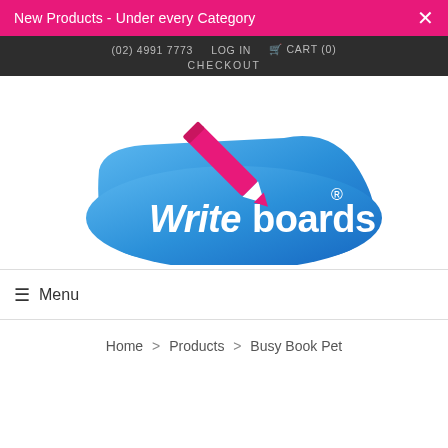New Products - Under every Category
(02) 4991 7773  LOG IN  CART (0)  CHECKOUT
[Figure (logo): Writeboards logo: blue rounded parallelogram shape with white italic text 'Writeboards' and a pink pencil graphic above, with registered trademark symbol]
≡ Menu
Home > Products > Busy Book Pet